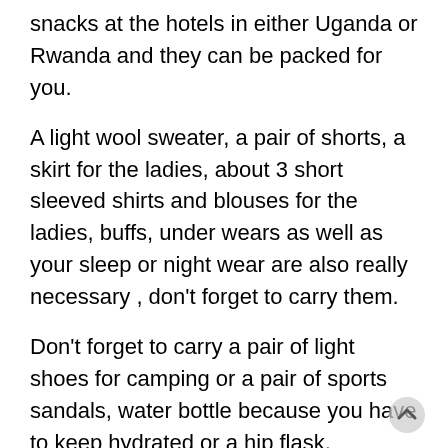snacks at the hotels in either Uganda or Rwanda and they can be packed for you.
A light wool sweater, a pair of shorts, a skirt for the ladies, about 3 short sleeved shirts and blouses for the ladies, buffs, under wears as well as your sleep or night wear are also really necessary , don't forget to carry them.
Don't forget to carry a pair of light shoes for camping or a pair of sports sandals, water bottle because you have to keep hydrated or a hip flask, sunscreen and insect repellent as well as a light day pack with camelback to keep your hands free.
You also really need your personal toiletries, micro fibre towel for rinsing hands and face, a first aid kit with prescription medicines like anti-diarrhea medicine, asprine, hydration sachets, cold medication, motion